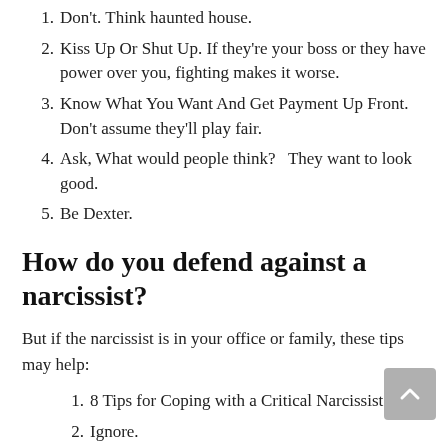1. Don't. Think haunted house.
2. Kiss Up Or Shut Up. If they're your boss or they have power over you, fighting makes it worse.
3. Know What You Want And Get Payment Up Front. Don't assume they'll play fair.
4. Ask, What would people think?   They want to look good.
5. Be Dexter.
How do you defend against a narcissist?
But if the narcissist is in your office or family, these tips may help:
1. 8 Tips for Coping with a Critical Narcissist.
2. Ignore.